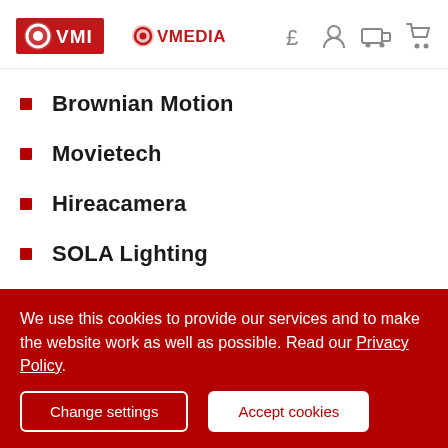VMI | OVMEDIA
Brownian Motion
Movietech
Hireacamera
SOLA Lighting
Picture Canning
Shift 4
We use this cookies to provide our services and to make the website work as well as possible. Read our Privacy Policy.
Change settings | Accept cookies